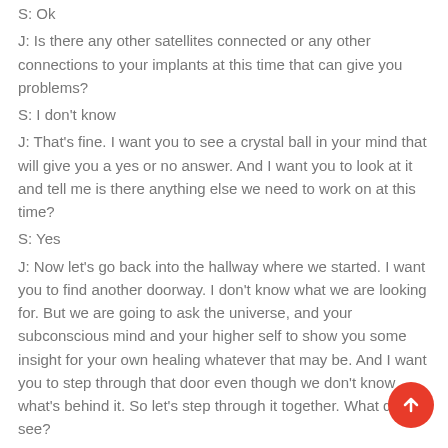S: Ok
J: Is there any other satellites connected or any other connections to your implants at this time that can give you problems?
S: I don't know
J: That's fine. I want you to see a crystal ball in your mind that will give you a yes or no answer. And I want you to look at it and tell me is there anything else we need to work on at this time?
S: Yes
J: Now let's go back into the hallway where we started. I want you to find another doorway. I don't know what we are looking for. But we are going to ask the universe, and your subconscious mind and your higher self to show you some insight for your own healing whatever that may be. And I want you to step through that door even though we don't know what's behind it. So let's step through it together. What do you see?
S: (text continues below)